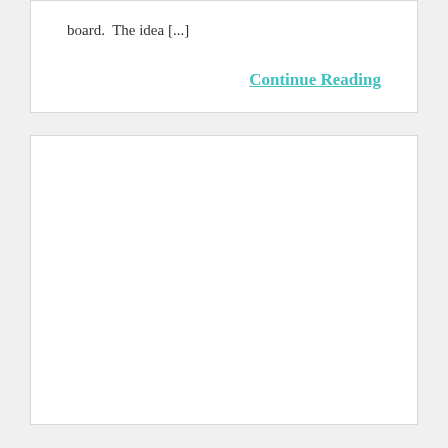board.  The idea [...]
Continue Reading